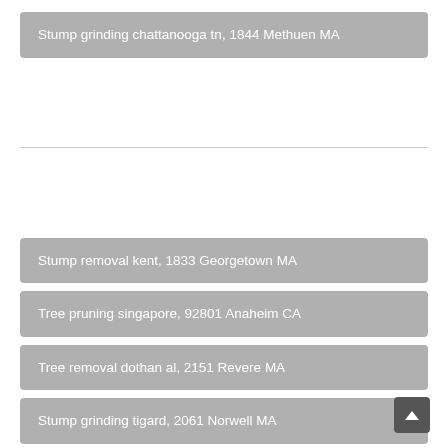Stump grinding chattanooga tn, 1844 Methuen MA
Stump removal kent, 1833 Georgetown MA
Tree pruning singapore, 92801 Anaheim CA
Tree removal dothan al, 2151 Revere MA
Stump grinding tigard, 2061 Norwell MA
Stump and tree removal porter tx, 2535 Chilmark MA
Salt lake city tree removal salt lake city ut, 75001 Addison TX